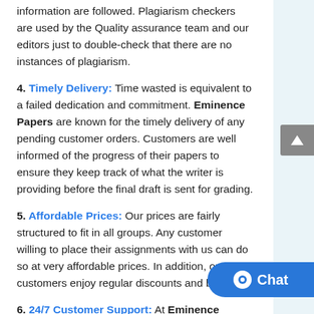information are followed. Plagiarism checkers are used by the Quality assurance team and our editors just to double-check that there are no instances of plagiarism.
4. Timely Delivery: Time wasted is equivalent to a failed dedication and commitment. Eminence Papers are known for the timely delivery of any pending customer orders. Customers are well informed of the progress of their papers to ensure they keep track of what the writer is providing before the final draft is sent for grading.
5. Affordable Prices: Our prices are fairly structured to fit in all groups. Any customer willing to place their assignments with us can do so at very affordable prices. In addition, our customers enjoy regular discounts and bonuses.
6. 24/7 Customer Support: At Eminence